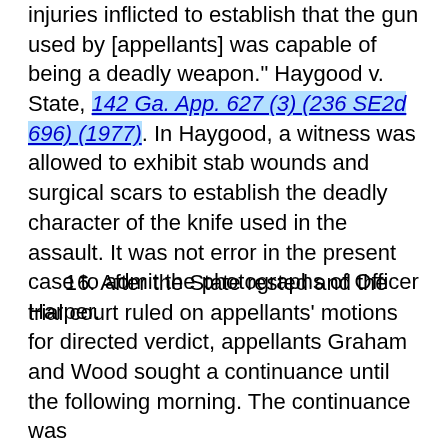injuries inflicted to establish that the gun used by [appellants] was capable of being a deadly weapon." Haygood v. State, 142 Ga. App. 627 (3) (236 SE2d 696) (1977). In Haygood, a witness was allowed to exhibit stab wounds and surgical scars to establish the deadly character of the knife used in the assault. It was not error in the present case to admit the photographs of Officer Harper.
16. After the State rested and the trial court ruled on appellants' motions for directed verdict, appellants Graham and Wood sought a continuance until the following morning. The continuance was